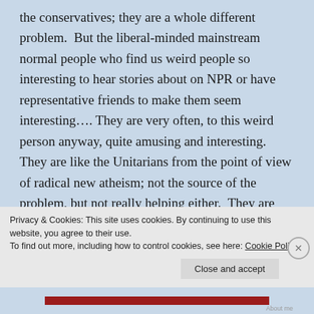the conservatives; they are a whole different problem. But the liberal-minded mainstream normal people who find us weird people so interesting to hear stories about on NPR or have representative friends to make them seem interesting…. They are very often, to this weird person anyway, quite amusing and interesting. They are like the Unitarians from the point of view of radical new atheism; not the source of the problem, but not really helping either. They are just sort of boring, trite, and uninspiring. They just sort of blend into the background of the culture, which we already (hopefully) agree is not
Privacy & Cookies: This site uses cookies. By continuing to use this website, you agree to their use.
To find out more, including how to control cookies, see here: Cookie Policy
Close and accept